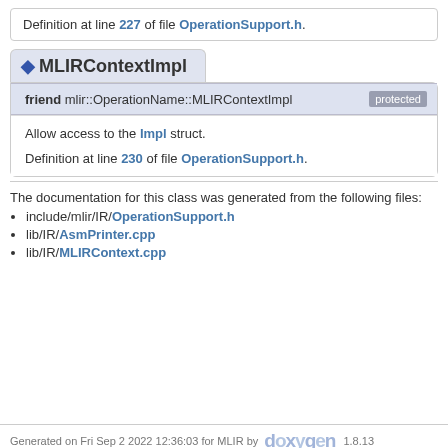Definition at line 227 of file OperationSupport.h.
MLIRContextImpl
friend mlir::OperationName::MLIRContextImpl [protected]
Allow access to the Impl struct.
Definition at line 230 of file OperationSupport.h.
The documentation for this class was generated from the following files:
include/mlir/IR/OperationSupport.h
lib/IR/AsmPrinter.cpp
lib/IR/MLIRContext.cpp
Generated on Fri Sep 2 2022 12:36:03 for MLIR by doxygen 1.8.13